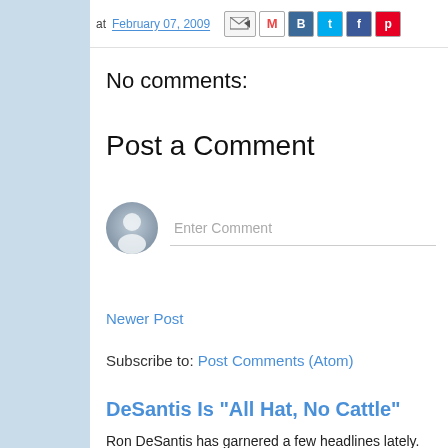at February 07, 2009
No comments:
Post a Comment
Enter Comment
Newer Post
Subscribe to: Post Comments (Atom)
DeSantis Is "All Hat, No Cattle"
Ron DeSantis has garnered a few headlines lately. Just in radical...